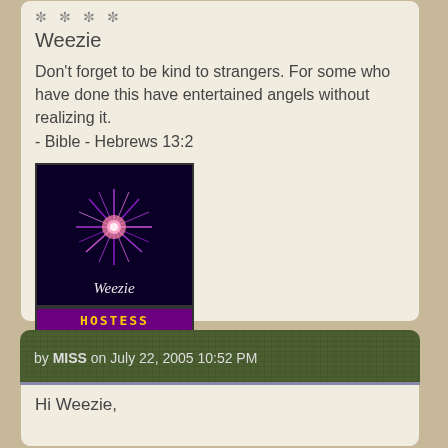* * * *
Weezie
Don't forget to be kind to strangers. For some who have done this have entertained angels without realizing it.
- Bible - Hebrews 13:2
[Figure (illustration): Avatar image with purple/pink firework burst on dark background, labeled 'Weezie' in italic white text]
[Figure (illustration): Hostess badge: purple header with 'HOSTESS' in yellow monospace text, gold/yellow body with 'WOW!!!' in purple text]
http://photobucket.com/albums/y250/weezie13/
by MISS on July 22, 2005 10:52 PM
Hi Weezie,